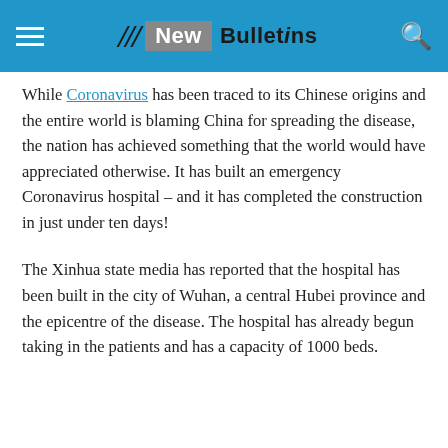New Bulletins
While Coronavirus has been traced to its Chinese origins and the entire world is blaming China for spreading the disease, the nation has achieved something that the world would have appreciated otherwise. It has built an emergency Coronavirus hospital – and it has completed the construction in just under ten days!
The Xinhua state media has reported that the hospital has been built in the city of Wuhan, a central Hubei province and the epicentre of the disease. The hospital has already begun taking in the patients and has a capacity of 1000 beds.